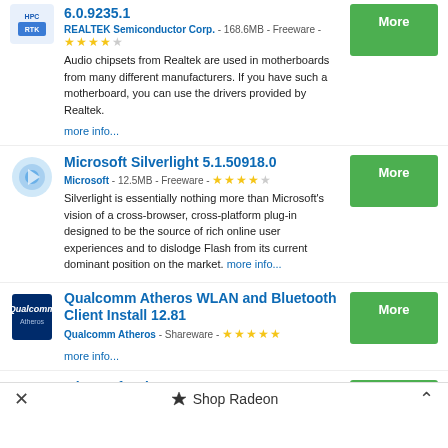6.0.9235.1 - REALTEK Semiconductor Corp. - 168.6MB - Freeware - Audio chipsets from Realtek are used in motherboards from many different manufacturers. If you have such a motherboard, you can use the drivers provided by Realtek. more info...
Microsoft Silverlight 5.1.50918.0 - Microsoft - 12.5MB - Freeware - Silverlight is essentially nothing more than Microsoft's vision of a cross-browser, cross-platform plug-in designed to be the source of rich online user experiences and to dislodge Flash from its current dominant position on the market. more info...
Qualcomm Atheros WLAN and Bluetooth Client Install 12.81 - Qualcomm Atheros - Shareware - more info...
Microsoft Edge 104.0.1293.63
× Shop Radeon ^